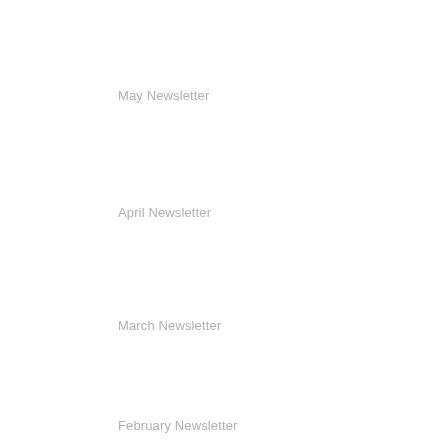May Newsletter
April Newsletter
March Newsletter
February Newsletter